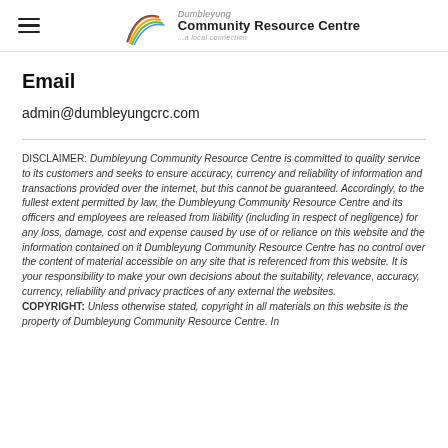Dumbleyung Community Resource Centre — ...a local connection
Email
admin@dumbleyungcrc.com
DISCLAIMER: Dumbleyung Community Resource Centre is committed to quality service to its customers and seeks to ensure accuracy, currency and reliability of information and transactions provided over the internet, but this cannot be guaranteed. Accordingly, to the fullest extent permitted by law, the Dumbleyung Community Resource Centre and its officers and employees are released from liability (including in respect of negligence) for any loss, damage, cost and expense caused by use of or reliance on this website and the information contained on it Dumbleyung Community Resource Centre has no control over the content of material accessible on any site that is referenced from this website. It is your responsibility to make your own decisions about the suitability, relevance, accuracy, currency, reliability and privacy practices of any external the websites. COPYRIGHT: Unless otherwise stated, copyright in all materials on this website is the property of Dumbleyung Community Resource Centre. In